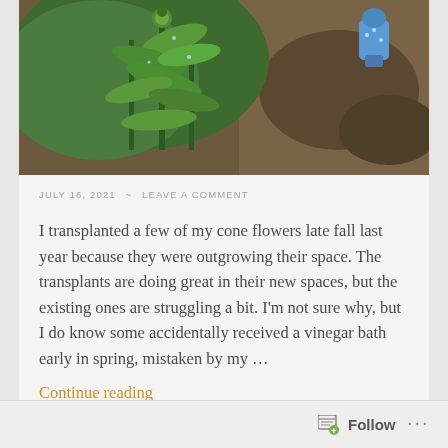[Figure (photo): Outdoor garden photo showing green leafy cone flower plants with dark mulch/soil in the background and a small blue decorative garden ornament visible in the upper right]
JULY 16, 2021 ~ LEAVE A COMMENT
I transplanted a few of my cone flowers late fall last year because they were outgrowing their space. The transplants are doing great in their new spaces, but the existing ones are struggling a bit. I'm not sure why, but I do know some accidentally received a vinegar bath early in spring, mistaken by my …
Continue reading
Follow ...